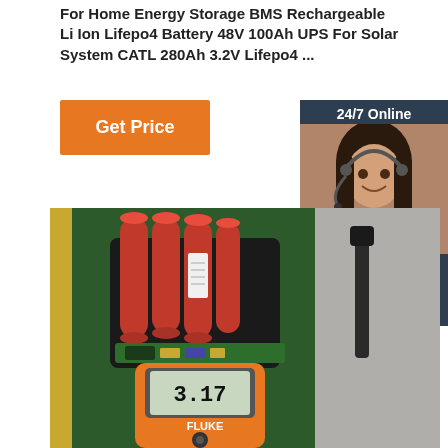For Home Energy Storage BMS Rechargeable Li Ion Lifepo4 Battery 48V 100Ah UPS For Solar System CATL 280Ah 3.2V Lifepo4 ...
Get Price
[Figure (photo): Customer service representative woman wearing headset, smiling, with '24/7 Online' header, 'Click here for free chat!' text, and 'QUOTATION' orange button, on dark navy background]
[Figure (photo): Photo of cylindrical lithium ion battery cells (red) arranged in a pack on a green surface, with a Fluke multimeter showing reading 3.17, and a cable tie visible in background]